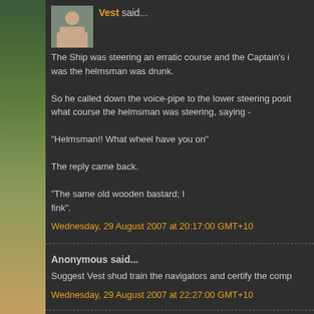Vest said...
The Ship was steering an erratic course and the Captain's i was the helmsman was drunk.
So he called down the voice-pipe to the lower steering posit what course the helmsman was steering, saying -
"Helmsman!! What wheel have you on"
The reply came back.
"The same old wooden bastard; I fink".
Wednesday, 29 August 2007 at 20:17:00 GMT+10
Anonymous said...
Suggest Vest shud train the navigators and certify the comp
Wednesday, 29 August 2007 at 22:27:00 GMT+10
Anonymous said...
This is an excerpt from vest's memoirs some of you out ther It would seem he was pissed out of his brain at his 20th birt steer a large 70ft boat- an MFV(researched) from Nth Wales journey of 70 odd miles across the boisterous Irish sea- N